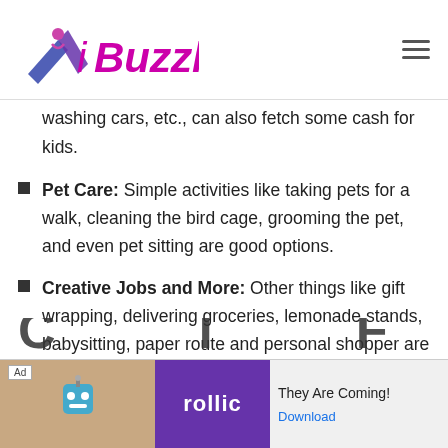iBuzzle
washing cars, etc., can also fetch some cash for kids.
Pet Care: Simple activities like taking pets for a walk, cleaning the bird cage, grooming the pet, and even pet sitting are good options.
Creative Jobs and More: Other things like gift wrapping, delivering groceries, lemonade stands, babysitting, paper route and personal shopper are good summer jobs for kids.
[Figure (screenshot): Advertisement banner for Rollic game app reading 'They Are Coming!' with Download link]